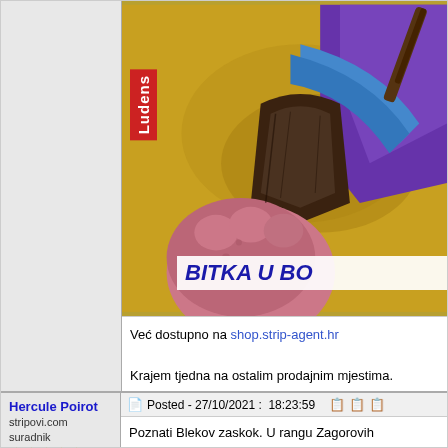[Figure (illustration): Comic book cover illustration showing a figure in purple costume with golden/yellow background. Red 'Ludens' vertical badge on left. White banner at bottom reads 'BITKA U BO...' in bold blue italic text.]
Već dostupno na shop.strip-agent.hr
Krajem tjedna na ostalim prodajnim mjestima.
Hercule Poirot
stripovi.com suradnik
★★★★★
Posted - 27/10/2021 :  18:23:59
Poznati Blekov zaskok. U rangu Zagorovih poderani...